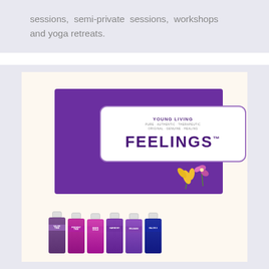sessions, semi-private sessions, workshops and yoga retreats.
[Figure (photo): Young Living 'Feelings' essential oil collection box (purple) with six small essential oil bottles arranged in front: Valor, Acceptance, Inner Child, Harmony, Present Time, and Release.]